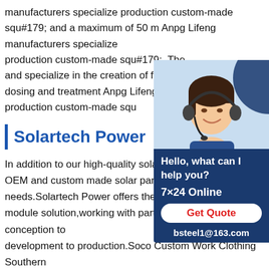manufacturers specialize production custom-made squ#179; and a maximum of 50 m Anpg Lifeng manufacturers specialize production custom-made squ#179;. The and specialize in the creation of facilities dosing and treatment Anpg Lifeng manufacturers production custom-made squ
[Figure (photo): Customer service representative wearing a headset, smiling, with a dark blue chat widget panel showing 'Hello, what can I help you?', '7×24 Online', 'Get Quote' button, and 'bsteel1@163.com']
Solartech Power
In addition to our high-quality solar panels OEM and custom made solar panels that needs.Solartech Power offers the only end module solution,working with partners from project conception to development to production.Soco Custom Work Clothing Southern Colorado HatsUnique custom embroidered welding caps,beanies,and hats made in the USA.We specialize in durable canvas,breathable and comfortable cotton,and exclusive hybrid